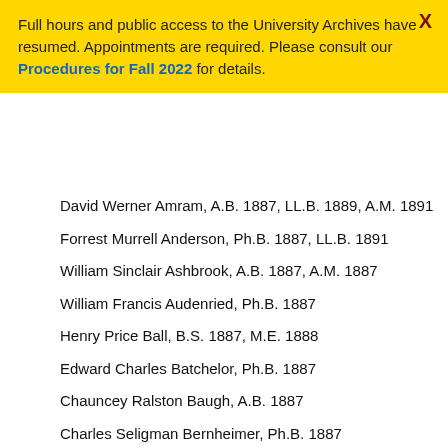Full hours and public access to the University Archives have resumed. Appointments are required. Please consult our Procedures for Fall 2022 for details.
David Werner Amram, A.B. 1887, LL.B. 1889, A.M. 1891
Forrest Murrell Anderson, Ph.B. 1887, LL.B. 1891
William Sinclair Ashbrook, A.B. 1887, A.M. 1887
William Francis Audenried, Ph.B. 1887
Henry Price Ball, B.S. 1887, M.E. 1888
Edward Charles Batchelor, Ph.B. 1887
Chauncey Ralston Baugh, A.B. 1887
Charles Seligman Bernheimer, Ph.B. 1887
Edgar French Brown, A.B. 1887
Francis Asbury Bruner, Ph.B. 1887
Charles Thomas Parry Brunner, B.S. 1887, M.E. 1888